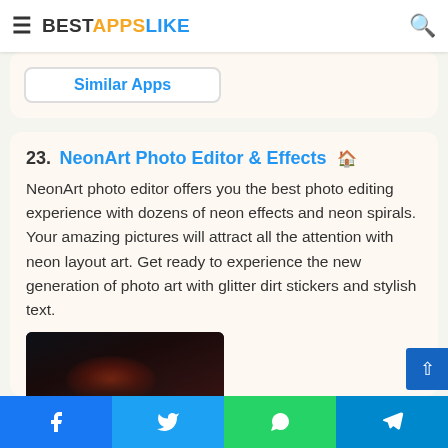BESTAPPSLIKE
Similar Apps
23. NeonArt Photo Editor & Effects
NeonArt photo editor offers you the best photo editing experience with dozens of neon effects and neon spirals. Your amazing pictures will attract all the attention with neon layout art. Get ready to experience the new generation of photo art with glitter dirt stickers and stylish text.
[Figure (photo): Dark photo of a person with red/orange neon light glow effect, partial view]
Facebook | Twitter | WhatsApp | Telegram share buttons